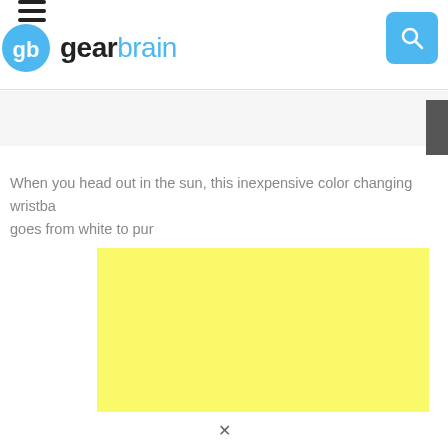gearbrain
When you head out in the sun, this inexpensive color changing wristba goes from white to pur
[Figure (other): Yellow advertisement placeholder box]
v